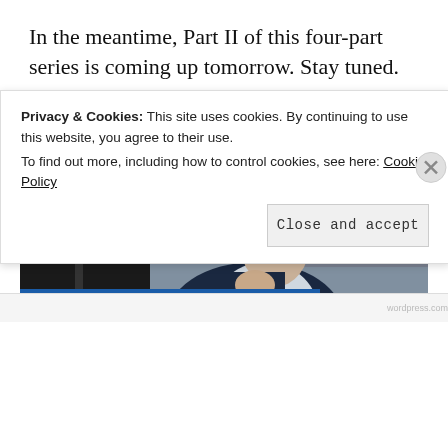In the meantime, Part II of this four-part series is coming up tomorrow. Stay tuned.
Sponsored Content
[Figure (photo): Advertisement photo showing a silver-haired man in a dark vest and white shirt, leaning on his hand, with studio lighting and shelving in the background.]
Privacy & Cookies: This site uses cookies. By continuing to use this website, you agree to their use.
To find out more, including how to control cookies, see here: Cookie Policy
Close and accept